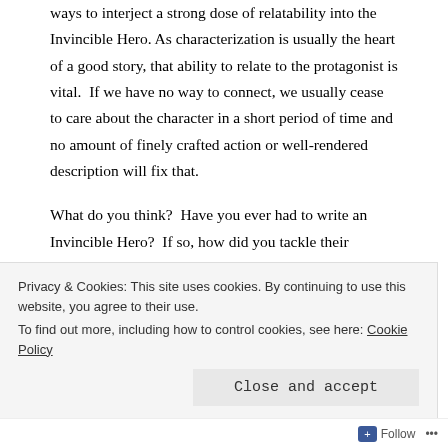ways to interject a strong dose of relatability into the Invincible Hero. As characterization is usually the heart of a good story, that ability to relate to the protagonist is vital. If we have no way to connect, we usually cease to care about the character in a short period of time and no amount of finely crafted action or well-rendered description will fix that.
What do you think? Have you ever had to write an Invincible Hero? If so, how did you tackle their relatability? Comment below!
Advertisements
[Figure (other): Advertisement banner with red background showing a phone app graphic on the left and text 'An app by listeners, for' in white bold text on the right]
Privacy & Cookies: This site uses cookies. By continuing to use this website, you agree to their use.
To find out more, including how to control cookies, see here: Cookie Policy
Close and accept